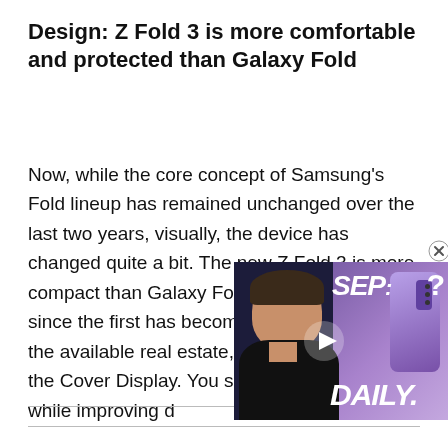Design: Z Fold 3 is more comfortable and protected than Galaxy Fold
Now, while the core concept of Samsung's Fold lineup has remained unchanged over the last two years, visually, the device has changed quite a bit. The new Z Fold 3 is more compact than Galaxy Fold. And every iteration since the first has become better at utilizing the available real estate, primarily visible with the Cover Display. You should al[so know that all of this happened while improving d[urability...]
[Figure (screenshot): Video overlay thumbnail showing a man and a purple iPhone with text 'SEP?' and 'DAILY.' on a dark background, with a close button and play button.]